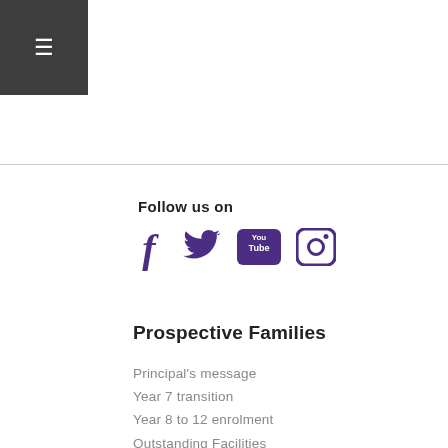[Figure (other): Dark grey hamburger menu icon (three horizontal lines) on dark grey background, top left corner]
Follow us on
[Figure (other): Four social media icons in purple: Facebook, Twitter, YouTube, Instagram]
Prospective Families
Principal's message
Year 7 transition
Year 8 to 12 enrolment
Outstanding Facilities
International Students
STEM program
Music program
School 7...